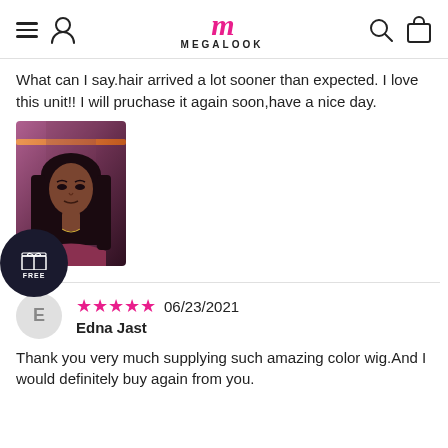MEGALOOK
What can I say.hair arrived a lot sooner than expected. I love this unit!! I will pruchase it again soon,have a nice day.
[Figure (photo): Photo of a person wearing a straight dark hair wig, taken in a room with purple/pink lighting.]
★★★★★ 06/23/2021
Edna Jast
Thank you very much supplying such amazing color wig.And I would definitely buy again from you.